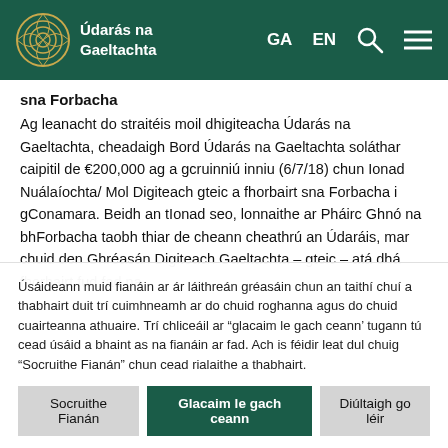Údarás na Gaeltachta
sna Forbacha
Ag leanacht do straitéis moil dhigiteacha Údarás na Gaeltachta, cheadaigh Bord Údarás na Gaeltachta soláthar caipitil de €200,000 ag a gcruinniú inniu (6/7/18) chun Ionad Nuálaíochta/ Mol Digiteach gteic a fhorbairt sna Forbacha i gConamara. Beidh an tIonad seo, lonnaithe ar Pháirc Ghnó na bhForbacha taobh thiar de cheann cheathrú an Údaráis, mar chuid den Ghréasán Digiteach Gaeltachta – gteic – atá dhá fhorbairt fud fad na
Úsáideann muid fianáin ar ár láithreán gréasáin chun an taithí chuí a thabhairt duit trí cuimhneamh ar do chuid roghanna agus do chuid cuairteanna athuaire. Trí chliceáil ar "glacaim le gach ceann' tugann tú cead úsáid a bhaint as na fianáin ar fad. Ach is féidir leat dul chuig "Socruithe Fianán" chun cead rialaithe a thabhairt.
Socruithe Fianán | Glacaim le gach ceann | Diúltaigh go léir